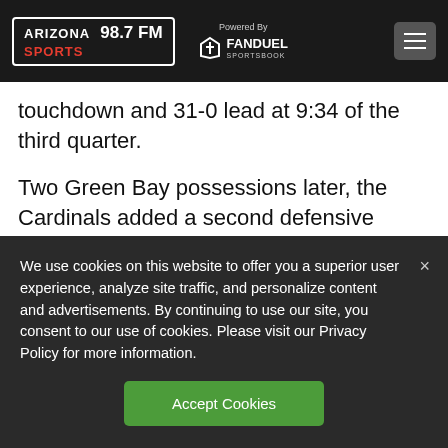ARIZONA SPORTS 98.7 FM — Powered By FANDUEL SPORTSBOOK
touchdown and 31-0 lead at 9:34 of the third quarter.
Two Green Bay possessions later, the Cardinals added a second defensive touchdown with Jerraud Powers returning a Packers fumble recovery for a touchdown.
We use cookies on this website to offer you a superior user experience, analyze site traffic, and personalize content and advertisements. By continuing to use our site, you consent to our use of cookies. Please visit our Privacy Policy for more information.
Accept Cookies